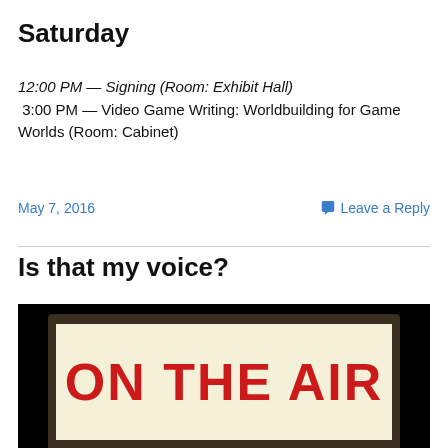Saturday
12:00 PM — Signing (Room: Exhibit Hall)
 3:00 PM — Video Game Writing: Worldbuilding for Game Worlds (Room: Cabinet)
May 7, 2016
Leave a Reply
Is that my voice?
[Figure (photo): Photo of an illuminated 'ON THE AIR' sign with red text on a cream/yellow background, in a dark wooden enclosure, against a black background.]